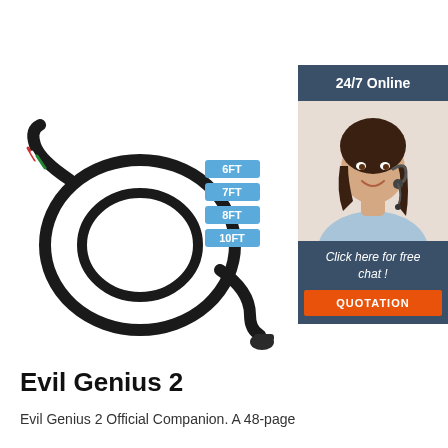[Figure (photo): Black cable/wire product with coiled cable and connector end, shown on white background. Floating option badges showing 6FT, 7FT, 8FT, 10FT in blue.]
[Figure (photo): Sidebar ad panel with dark blue header '24/7 Online', photo of smiling woman with headset, dark blue footer with italic text 'Click here for free chat!' and an orange QUOTATION button.]
Evil Genius 2
Evil Genius 2 Official Companion. A 48-page